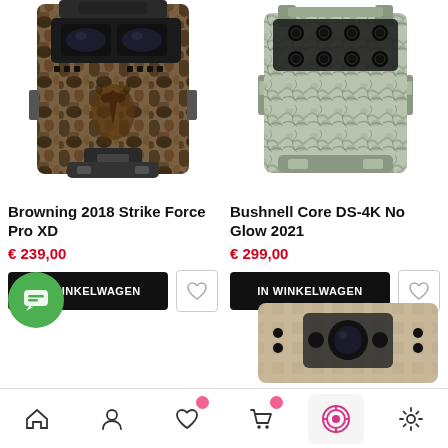[Figure (photo): Browning trail camera with mossy oak camouflage pattern, front view showing dual lens]
[Figure (photo): Bushnell Core DS-4K trail camera with grey marble/granite camouflage pattern, front view]
Browning 2018 Strike Force Pro XD
€ 239,00
IN WINKELWAGEN
Bushnell Core DS-4K No Glow 2021
€ 299,00
IN WINKELWAGEN
[Figure (photo): Partial view of a third trail camera in tan/beige color at bottom right]
Bottom navigation bar with home, account, favorites, cart, scan, and settings icons